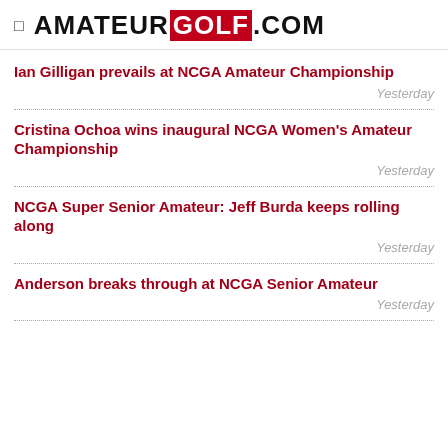AMATEUR GOLF .COM
Ian Gilligan prevails at NCGA Amateur Championship
Cristina Ochoa wins inaugural NCGA Women's Amateur Championship
NCGA Super Senior Amateur: Jeff Burda keeps rolling along
Anderson breaks through at NCGA Senior Amateur